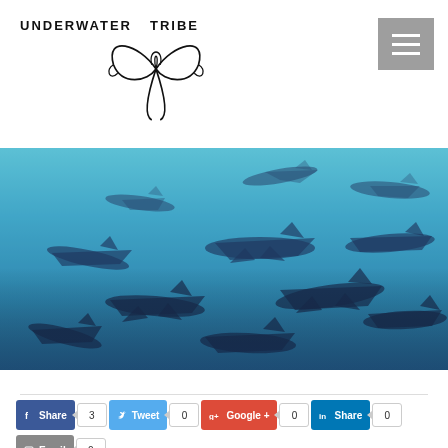[Figure (logo): Underwater Tribe logo with stylized manta ray / stingray graphic and text 'Underwater Tribe' in uppercase]
[Figure (photo): Underwater photo of a large school of hammerhead sharks swimming in blue ocean water, viewed from below]
[Figure (other): Social sharing buttons row: Facebook Share (3), Twitter Tweet (0), Google+ (0), LinkedIn Share (0), Email (0)]